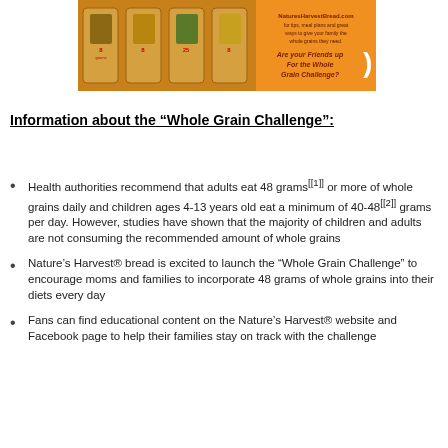[Figure (photo): Nature's Harvest bread product banner advertisement with orange background showing bread loaf packages and text about the Whole Grain Challenge]
Information about the “Whole Grain Challenge”:
Health authorities recommend that adults eat 48 grams[[1]] or more of whole grains daily and children ages 4-13 years old eat a minimum of 40-48[[2]] grams per day. However, studies have shown that the majority of children and adults are not consuming the recommended amount of whole grains
Nature’s Harvest® bread is excited to launch the “Whole Grain Challenge” to encourage moms and families to incorporate 48 grams of whole grains into their diets every day
Fans can find educational content on the Nature’s Harvest® website and Facebook page to help their families stay on track with the challenge